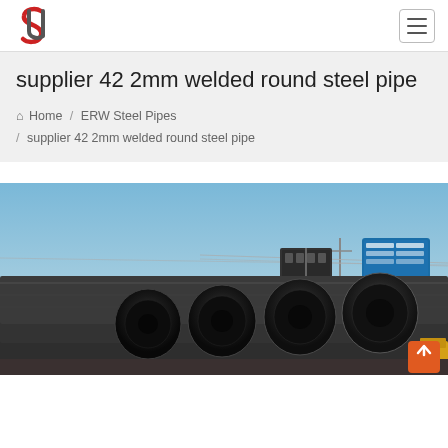supplier 42 2mm welded round steel pipe — site navigation header with logo and hamburger menu
supplier 42 2mm welded round steel pipe
Home / ERW Steel Pipes / supplier 42 2mm welded round steel pipe
[Figure (photo): Photograph of large diameter black steel ERW round pipes stacked outdoors under a blue sky, with billboard signs and utility poles visible in the background and yellow equipment at the right edge.]